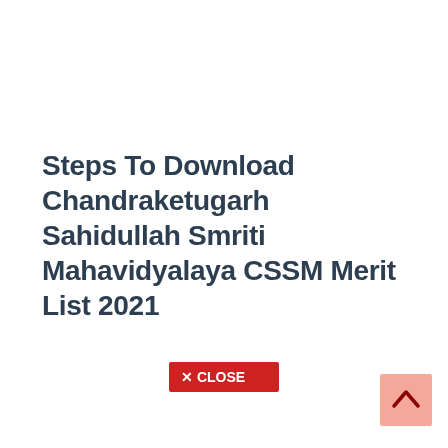Steps To Download Chandraketugarh Sahidullah Smriti Mahavidyalaya CSSM Merit List 2021
[Figure (other): Red close button with X icon and text CLOSE]
[Figure (other): Light salmon/pink square button with upward arrow chevron, scroll-to-top UI element]